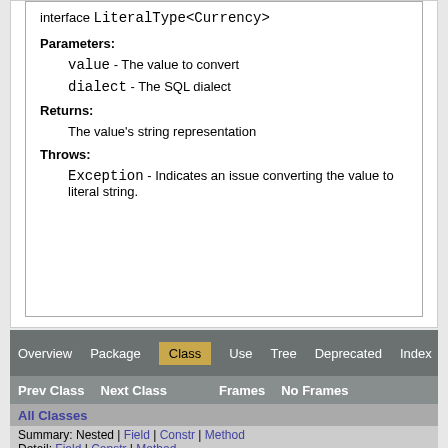interface LiteralType<Currency>
Parameters:
value - The value to convert
dialect - The SQL dialect
Returns:
The value's string representation
Throws:
Exception - Indicates an issue converting the value to literal string.
Overview | Package | Class | Use | Tree | Deprecated | Index | Help | Prev Class | Next Class | Frames | No Frames | All Classes | Summary: Nested | Field | Constr | Method | Detail: Field | Constr | Method | Copyright © 2001-2015 Red Hat, Inc. All Rights Reserved.